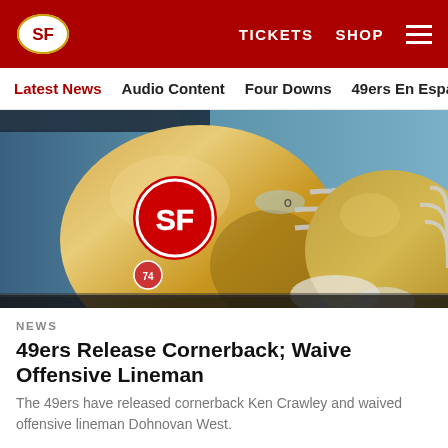49ers website header with logo, TICKETS, SHOP, and hamburger menu
Latest News | Audio Content | Four Downs | 49ers En Español | Ga
[Figure (photo): San Francisco 49ers gold football helmets with SF logo and Oakley visor, close-up photo]
NEWS
49ers Release Cornerback; Waive Offensive Lineman
The 49ers have released cornerback Ken Crawley and waived offensive lineman Dohnovan West.
[Figure (infographic): Social sharing icons: Facebook, Twitter, Email, Link]